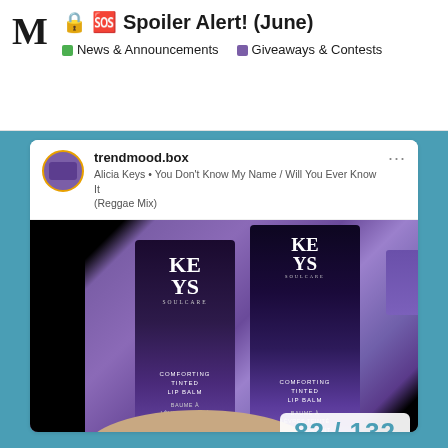🔒 🆘 Spoiler Alert! (June)
■ News & Announcements  ■ Giveaways & Contests
trendmood.box
Alicia Keys • You Don't Know My Name / Will You Ever Know It (Reggae Mix)
[Figure (photo): Photo of two KEYS Soulcare Comforting Tinted Lip Balm boxes being held in a hand against a purple background. Both boxes display 'KEYS SOULCARE' branding and 'COMFORTING TINTED LIP BALM / BAUME À LÈVRES TEINTÉ RÉCONFORTANT' text. Size: 0.1 OZ (2.9g).]
82 / 132